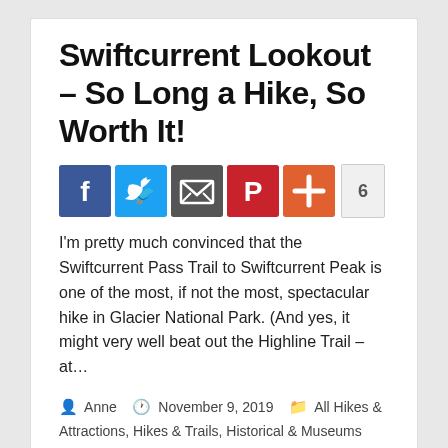Swiftcurrent Lookout – So Long a Hike, So Worth It!
[Figure (infographic): Social share buttons row: Facebook (blue), Twitter (light blue), Email (dark gray), Pinterest (red), Plus/More (orange-red), and a count badge showing 6]
I'm pretty much convinced that the Swiftcurrent Pass Trail to Swiftcurrent Peak is one of the most, if not the most, spectacular hike in Glacier National Park.  (And yes, it might very well beat out the Highline Trail – at…
Anne  November 9, 2019  All Hikes & Attractions, Hikes & Trails, Historical & Museums
read more